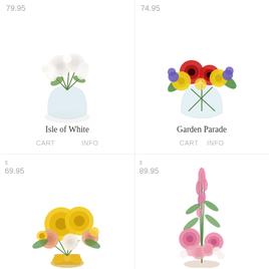[Figure (photo): White floral bouquet with roses and lilies in a round clear glass vase, price tag 79.95]
Isle of White
CART   INFO
[Figure (photo): Colorful bouquet with red gerberas, yellow roses, purple statice in a clear glass vase, price tag 74.95]
Garden Parade
CART   INFO
[Figure (photo): Yellow lilies and peach roses bouquet in a yellow ribbon-tied vase, price tag $ 69.95]
[Figure (photo): Tall pink flower arrangement with vertical stems, price tag $ 89.95]